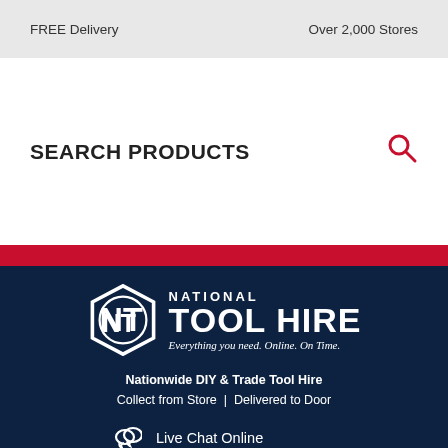FREE Delivery    Over 2,000 Stores
SEARCH PRODUCTS
[Figure (logo): National Tool Hire logo with hexagon emblem, text NATIONAL TOOL HIRE, tagline: Everything you need. Online. On Time.]
Nationwide DIY & Trade Tool Hire
Collect from Store | Delivered to Door
Live Chat Online
Local Hire Shops
Request Call Back